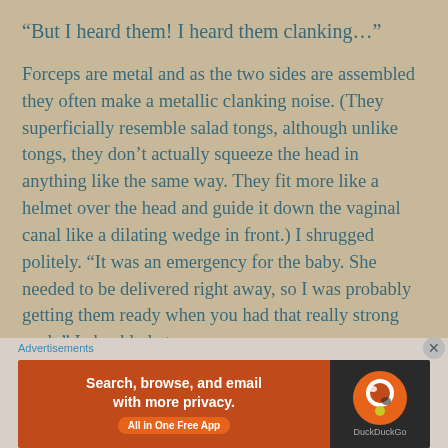“But I heard them! I heard them clanking…”
Forceps are metal and as the two sides are assembled they often make a metallic clanking noise. (They superficially resemble salad tongs, although unlike tongs, they don’t actually squeeze the head in anything like the same way. They fit more like a helmet over the head and guide it down the vaginal canal like a dilating wedge in front.) I shrugged politely. “It was an emergency for the baby. She needed to be delivered right away, so I was probably getting them ready when you had that really strong push.” I chuckled at
Advertisements
[Figure (screenshot): DuckDuckGo advertisement banner with orange background. Left side shows text 'Search, browse, and email with more privacy.' and 'All in One Free App' button. Right side shows DuckDuckGo logo on dark background.]